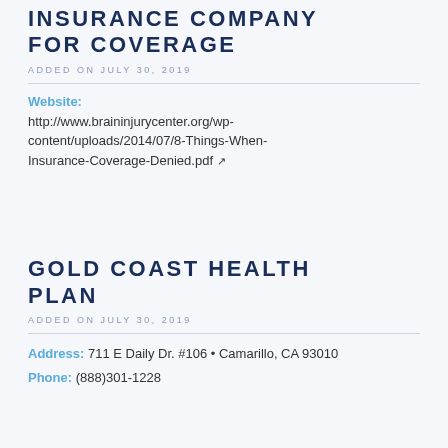INSURANCE COMPANY FOR COVERAGE
ADDED ON JULY 30, 2019
Website:
http://www.braininjurycenter.org/wp-content/uploads/2014/07/8-Things-When-Insurance-Coverage-Denied.pdf
GOLD COAST HEALTH PLAN
ADDED ON JULY 30, 2019
Address: 711 E Daily Dr. #106 • Camarillo, CA 93010
Phone: (888)301-1228